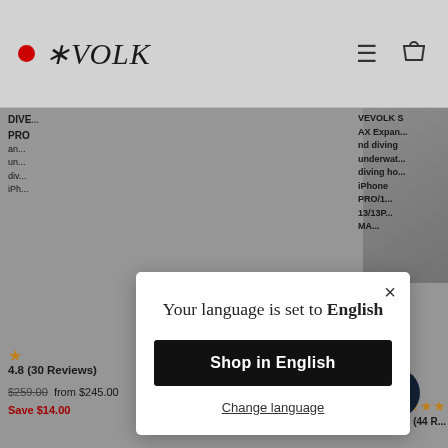VOLK (logo with red dot, hamburger menu, cart icon)
[Figure (screenshot): E-commerce website background showing product listings for DIVEVOLK products with star ratings and prices]
Your language is set to English
Shop in English
Change language
4.8 (30 Reviews)
$259.00 from $245.00 Save $14.00
0 (0 Reviews)
$279.00 $269.00 Save $10.00
4.9 (44 R...